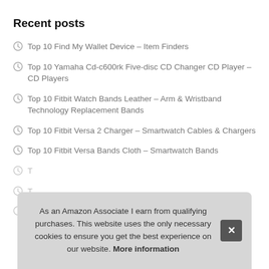Recent posts
Top 10 Find My Wallet Device – Item Finders
Top 10 Yamaha Cd-c600rk Five-disc CD Changer CD Player – CD Players
Top 10 Fitbit Watch Bands Leather – Arm & Wristband Technology Replacement Bands
Top 10 Fitbit Versa 2 Charger – Smartwatch Cables & Chargers
Top 10 Fitbit Versa Bands Cloth – Smartwatch Bands
T…
T…
T…
As an Amazon Associate I earn from qualifying purchases. This website uses the only necessary cookies to ensure you get the best experience on our website. More information